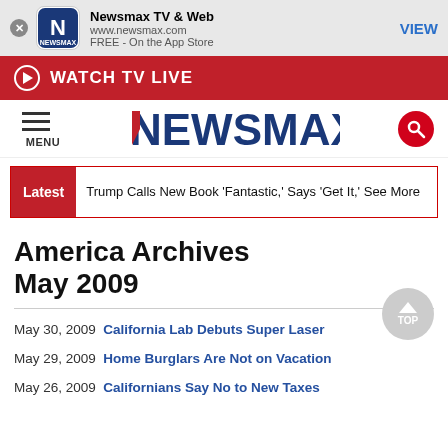[Figure (screenshot): Newsmax app banner with app icon, name, URL and VIEW button]
WATCH TV LIVE
[Figure (logo): NEWSMAX logo with hamburger menu and search icon]
Latest   Trump Calls New Book ‘Fantastic,’ Says ‘Get It,’ See More
America Archives May 2009
May 30, 2009  California Lab Debuts Super Laser
May 29, 2009  Home Burglars Are Not on Vacation
May 26, 2009  Californians Say No to New Taxes